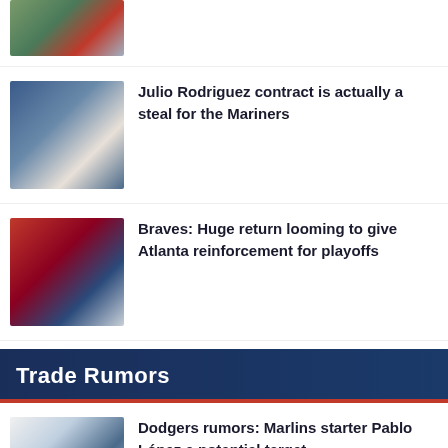[Figure (photo): Baseball player photo (partial, top of page)]
[Figure (photo): Julio Rodriguez baseball player crouching]
Julio Rodriguez contract is actually a steal for the Mariners
[Figure (photo): Braves baseball player in red uniform]
Braves: Huge return looming to give Atlanta reinforcement for playoffs
Trade Rumors
[Figure (photo): Marlins pitcher Pablo López in white uniform]
Dodgers rumors: Marlins starter Pablo López a potential target